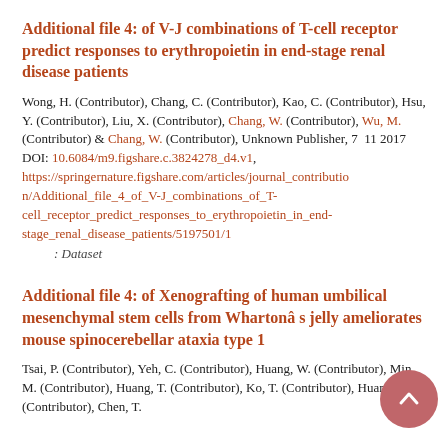Additional file 4: of V-J combinations of T-cell receptor predict responses to erythropoietin in end-stage renal disease patients
Wong, H. (Contributor), Chang, C. (Contributor), Kao, C. (Contributor), Hsu, Y. (Contributor), Liu, X. (Contributor), Chang, W. (Contributor), Wu, M. (Contributor) & Chang, W. (Contributor), Unknown Publisher, 7  11 2017 DOI: 10.6084/m9.figshare.c.3824278_d4.v1, https://springernature.figshare.com/articles/journal_contribution/Additional_file_4_of_V-J_combinations_of_T-cell_receptor_predict_responses_to_erythropoietin_in_end-stage_renal_disease_patients/5197501/1
  : Dataset
Additional file 4: of Xenografting of human umbilical mesenchymal stem cells from Whartonâ s jelly ameliorates mouse spinocerebellar ataxia type 1
Tsai, P. (Contributor), Yeh, C. (Contributor), Huang, W. (Contributor), Min, M. (Contributor), Huang, T. (Contributor), Ko, T. (Contributor), Huang, P. (Contributor), Chen, T.